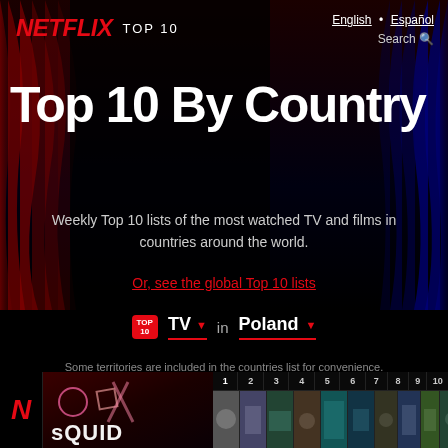NETFLIX TOP 10
English · Español  Search
Top 10 By Country
Weekly Top 10 lists of the most watched TV and films in countries around the world.
Or, see the global Top 10 lists
TOP 10  TV ▾  in  Poland ▾
Some territories are included in the countries list for convenience.
[Figure (screenshot): Bottom strip showing Netflix N icon, Squid Game thumbnail with decorative game pieces and 'SQUID' text, and a numbered strip 1-10 with smaller thumbnails]